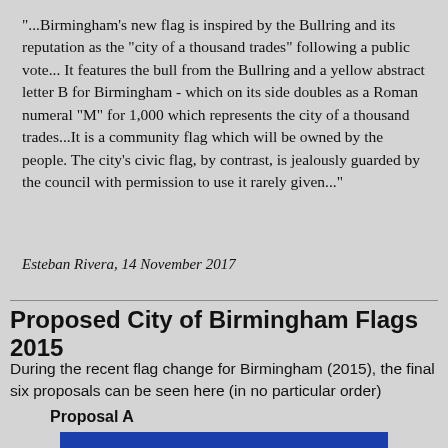"...Birmingham's new flag is inspired by the Bullring and its reputation as the "city of a thousand trades" following a public vote... It features the bull from the Bullring and a yellow abstract letter B for Birmingham - which on its side doubles as a Roman numeral "M" for 1,000 which represents the city of a thousand trades...It is a community flag which will be owned by the people. The city's civic flag, by contrast, is jealously guarded by the council with permission to use it rarely given..."
Esteban Rivera, 14 November 2017
Proposed City of Birmingham Flags 2015
During the recent flag change for Birmingham (2015), the final six proposals can be seen here (in no particular order)
Proposal A
[Figure (photo): Blue flag with white emblem for Proposal A]